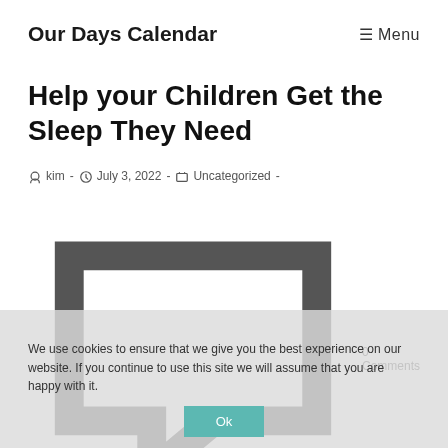Our Days Calendar    ☰ Menu
Help your Children Get the Sleep They Need
Post author: kim · July 3, 2022 · Uncategorized · 0 Comments
Learn how to create healthy sleep habits for your children so you can enjoy your time together!
Continue Reading ▶
We use cookies to ensure that we give you the best experience on our website. If you continue to use this site we will assume that you are happy with it.
Ok